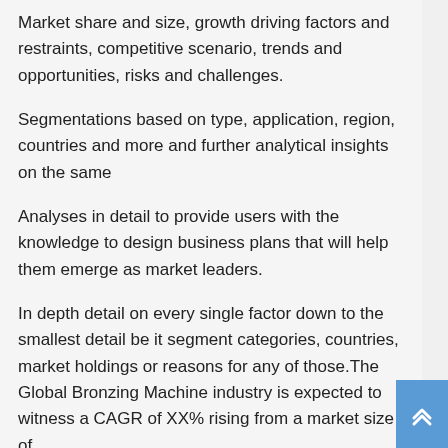Market share and size, growth driving factors and restraints, competitive scenario, trends and opportunities, risks and challenges.
Segmentations based on type, application, region, countries and more and further analytical insights on the same
Analyses in detail to provide users with the knowledge to design business plans that will help them emerge as market leaders.
In depth detail on every single factor down to the smallest detail be it segment categories, countries, market holdings or reasons for any of those.The Global Bronzing Machine industry is expected to witness a CAGR of XX% rising from a market size of